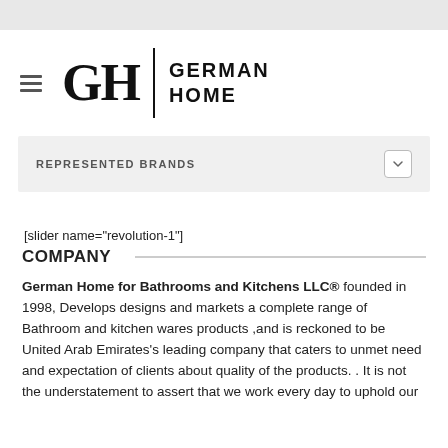[Figure (logo): German Home logo with GH monogram, vertical divider, and text GERMAN HOME]
REPRESENTED BRANDS
[slider name="revolution-1"]
COMPANY
German Home for Bathrooms and Kitchens LLC® founded in 1998, Develops designs and markets a complete range of Bathroom and kitchen wares products ,and is reckoned to be United Arab Emirates's leading company that caters to unmet need and expectation of clients about quality of the products. . It is not the understatement to assert that we work every day to uphold our